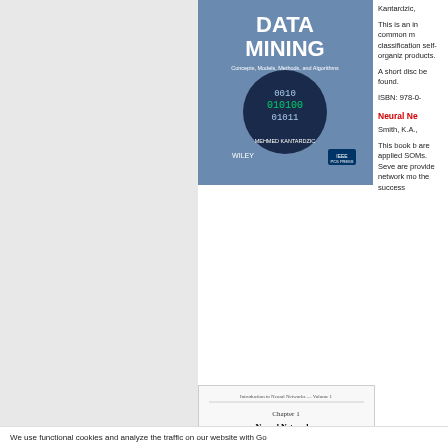[Figure (photo): Book cover: Data Mining - Concepts, Models, Methods, and Algorithms by Mehmed Kantardzic. Published by Wiley and IEEE. Cover shows binary digits on a dark blue background.]
Kantardzic,
This is an in common m classification self-organiz products.
A short disc be found.
ISBN: 978-0-
Neural Ne
[Figure (photo): Book chapter page: Neural Networks: An Introduction by Smith, K.A. Shows chapter 1 introduction text.]
Smith, K.A.,
This book b are applied SOMs. Seve are provide network mo the success
We use functional cookies and analyze the traffic on our website with Go